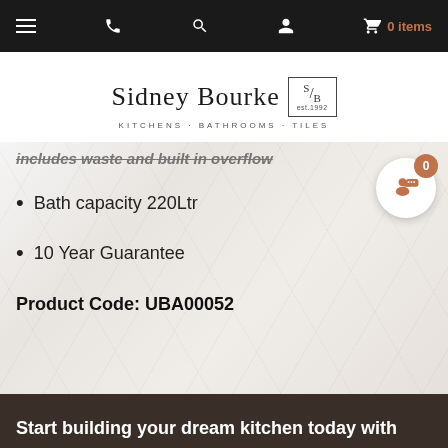Sidney Bourke KITCHENS · BATHROOMS · TILES
Includes waste and built in overflow
Bath capacity 220Ltr
10 Year Guarantee
Product Code: UBA00052
Start building your dream kitchen today with